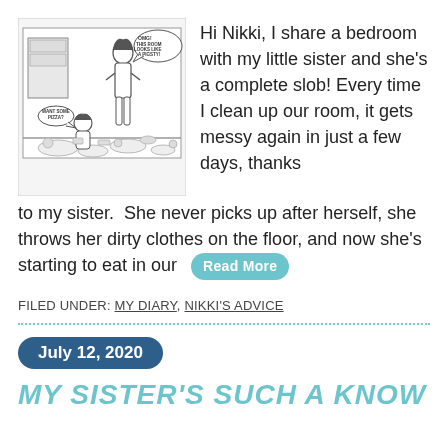[Figure (illustration): Black and white comic illustration of a messy bedroom with two characters; speech bubbles read 'OMG! THIS ROOM LOOKS LIKE A PIGSTY!' and 'WANT SOME PIZZA?']
Hi Nikki, I share a bedroom with my little sister and she's a complete slob! Every time I clean up our room, it gets messy again in just a few days, thanks to my sister.  She never picks up after herself, she throws her dirty clothes on the floor, and now she's starting to eat in our  Read More
FILED UNDER: MY DIARY, NIKKI'S ADVICE
July 12, 2020
MY SISTER'S SUCH A KNOW